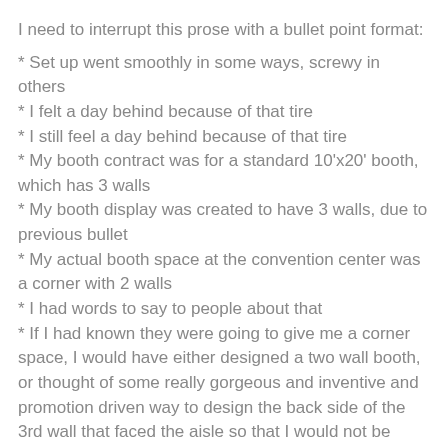I need to interrupt this prose with a bullet point format:
* Set up went smoothly in some ways, screwy in others
* I felt a day behind because of that tire
* I still feel a day behind because of that tire
* My booth contract was for a standard 10'x20' booth, which has 3 walls
* My booth display was created to have 3 walls, due to previous bullet
* My actual booth space at the convention center was a corner with 2 walls
* I had words to say to people about that
* If I had known they were going to give me a corner space, I would have either designed a two wall booth, or thought of some really gorgeous and inventive and promotion driven way to design the back side of the 3rd wall that faced the aisle so that I would not be baring the constructed guts of my booth to the unsuspecting and kind quilt market attendees, but rather using the 8'x10' wall space in a useful, beautiful way
* I thought to pack a fat quarter of all of the new fabrics in